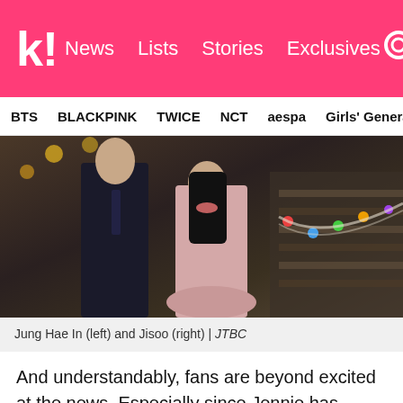k! News Lists Stories Exclusives
BTS   BLACKPINK   TWICE   NCT   aespa   Girls' Generation
[Figure (photo): Jung Hae In and Jisoo standing together on a staircase decorated with colorful lights and ribbons. Jung Hae In is wearing a dark suit, Jisoo is wearing a pink outfit.]
Jung Hae In (left) and Jisoo (right) | JTBC
And understandably, fans are beyond excited at the news. Especially since Jennie has continually proven that she would make a